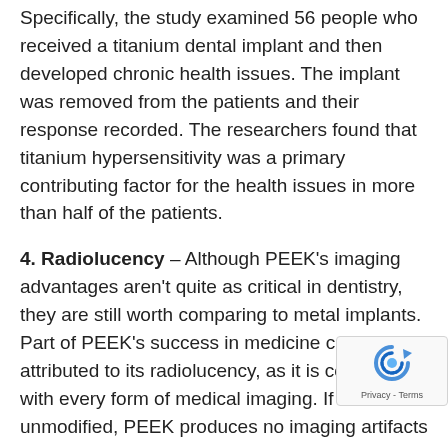Specifically, the study examined 56 people who received a titanium dental implant and then developed chronic health issues. The implant was removed from the patients and their response recorded. The researchers found that titanium hypersensitivity was a primary contributing factor for the health issues in more than half of the patients.
4. Radiolucency – Although PEEK's imaging advantages aren't quite as critical in dentistry, they are still worth comparing to metal implants. Part of PEEK's success in medicine can be attributed to its radiolucency, as it is compatible with every form of medical imaging. If left unmodified, PEEK produces no imaging artifacts and is ideal for MRI and CT scans. If augmented with barium sulfate, it can generate additional opacity and show up on X- PEEK's versatility in this regard means it won't in the way should the dentist need to image the
[Figure (logo): Google reCAPTCHA logo with Privacy and Terms text]